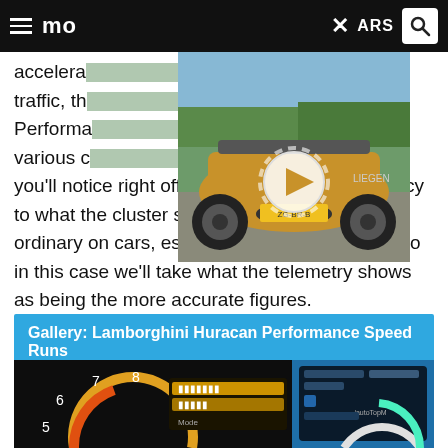mo ARS
accelera...enter traffic, th... Performa...ve see various c...eds, and you'll notice right off the bat a speed discrepancy to what the cluster shows. This isn't out of the ordinary on cars, especially at higher speeds, so in this case we'll take what the telemetry shows as being the more accurate figures.
[Figure (photo): Video thumbnail of a gold Lamborghini Huracan rear view with play button overlay]
Gallery: Lamborghini Huracan Performance Speed Runs
[Figure (photo): Dashboard of Lamborghini Huracan showing gauges and telemetry display during speed runs]